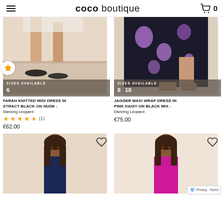coco boutique  0
[Figure (photo): Product photo of FARAH KNITTED MIDI DRESS IN ABSTRACT BLACK ON NUDE - lower half showing legs with sandals, with sizes available overlay showing size 6]
FARAH KNITTED MIDI DRESS IN ABSTRACT BLACK ON NUDE -
Dancing Leopard
★★★★★ (1)
€62.00
[Figure (photo): Product photo of JAGGER MAXI WRAP DRESS IN PINK DAISY ON BLACK MIX - lower half showing floral dress with sizes available overlay showing sizes 8, 10]
JAGGER MAXI WRAP DRESS IN PINK DAISY ON BLACK MIX -
Dancing Leopard
€75.00
[Figure (photo): Product photo bottom left - woman in navy dress, portrait crop]
[Figure (photo): Product photo bottom right - woman in magenta/pink top, portrait crop]